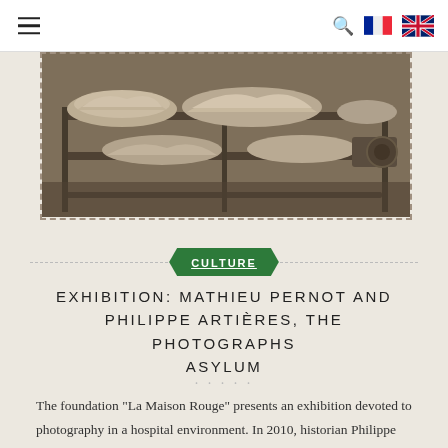Navigation bar with hamburger menu, search icon, French flag, UK flag
[Figure (photo): Vintage sepia photograph showing fabric or laundry items piled on metal shelving/trolley in what appears to be a hospital or institutional laundry setting, 1930s era]
CULTURE
EXHIBITION: MATHIEU PERNOT AND PHILIPPE ARTIÈRES, THE PHOTOGRAPHS ASYLUM
The foundation "La Maison Rouge" presents an exhibition devoted to photography in a hospital environment. In 2010, historian Philippe Artières and photographer Mathieu Pernot discovered pictures from the 1930's until today, in the archives